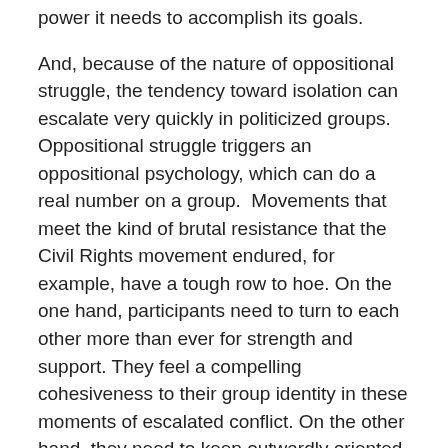power it needs to accomplish its goals.
And, because of the nature of oppositional struggle, the tendency toward isolation can escalate very quickly in politicized groups. Oppositional struggle triggers an oppositional psychology, which can do a real number on a group.  Movements that meet the kind of brutal resistance that the Civil Rights movement endured, for example, have a tough row to hoe. On the one hand, participants need to turn to each other more than ever for strength and support. They feel a compelling cohesiveness to their group identity in these moments of escalated conflict. On the other hand, they need to keep outwardly oriented, to stay connected to a broad and growing base. This is difficult to do even when leaders (we are all leaders) are fully oriented to the task, let alone when they are unprepared, which is so often the case.